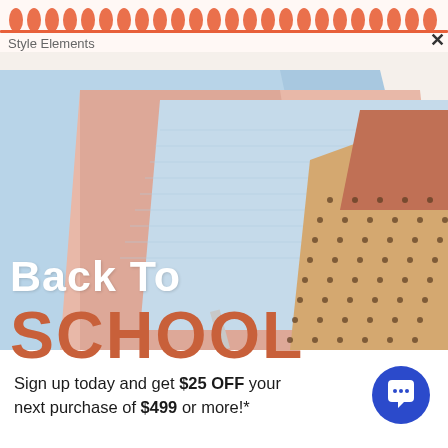Style Elements
[Figure (photo): Back to school promotional image showing pastel-colored notebooks (light blue, pink/peach) and a kraft paper notebook with dots, arranged overlapping on a white background. A pencil is partially visible.]
Back To SCHOOL
Sign up today and get $25 OFF your next purchase of $499 or more!*